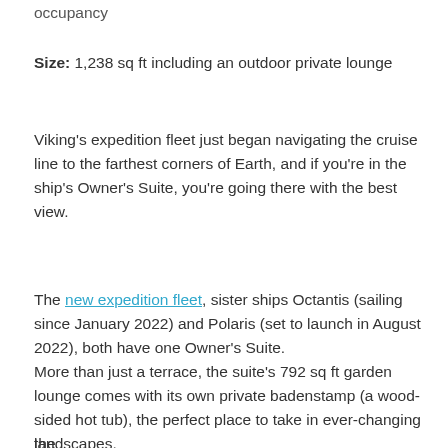occupancy
Size: 1,238 sq ft including an outdoor private lounge
Viking's expedition fleet just began navigating the cruise line to the farthest corners of Earth, and if you're in the ship's Owner's Suite, you're going there with the best view.
The new expedition fleet, sister ships Octantis (sailing since January 2022) and Polaris (set to launch in August 2022), both have one Owner's Suite.
More than just a terrace, the suite's 792 sq ft garden lounge comes with its own private badenstamp (a wood-sided hot tub), the perfect place to take in ever-changing landscapes.
the...